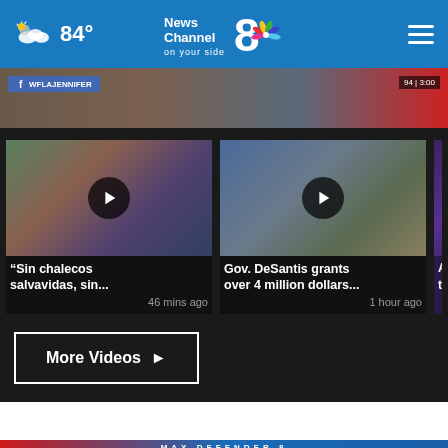84° News Channel 8 on your side
[Figure (screenshot): TV broadcast banner showing WFLAJENNIFER facebook tag with partial on-air footage]
[Figure (screenshot): Video thumbnail of woman reporter with play button overlay]
“Sin chalecos salvavidas, sin... 46 mins ago
[Figure (screenshot): Video thumbnail of male anchor with play button overlay]
Gov. DeSantis grants over 4 million dollars... 1 hour ago
[Figure (screenshot): Partial video card with text Artem... to ma...]
More Videos ▶
[Figure (screenshot): MAX DEFENDER 8 - THE NEXT FIVE weather segment banner showing 10PM FEELS MUGGY 83°]